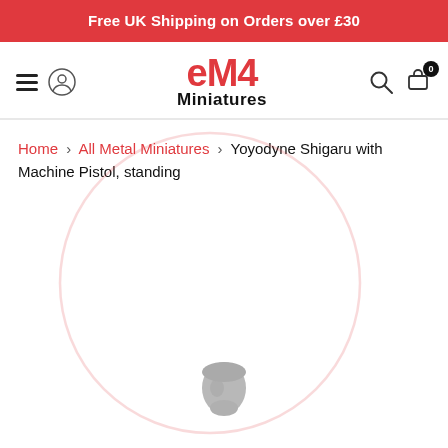Free UK Shipping on Orders over £30
[Figure (logo): eM4 Miniatures logo with red stylized text and black 'Miniatures' subtitle]
Home > All Metal Miniatures > Yoyodyne Shigaru with Machine Pistol, standing
[Figure (photo): Partial view of a metal miniature figurine (head visible at bottom of page)]